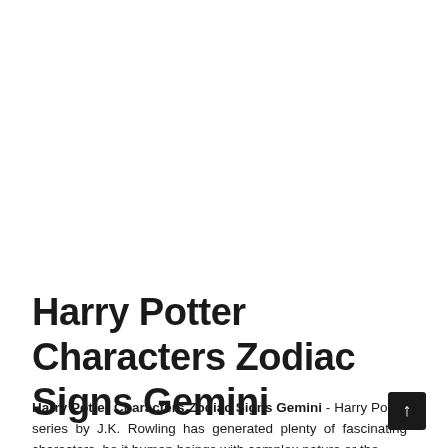Harry Potter Characters Zodiac Signs Gemini
Harry Potter Characters Zodiac Signs Gemini - Harry Potter series by J.K. Rowling has generated plenty of fascinating characters, be it human beings with complex nature or the